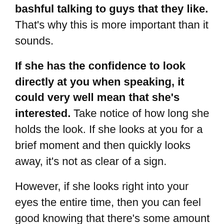bashful talking to guys that they like. That's why this is more important than it sounds.
If she has the confidence to look directly at you when speaking, it could very well mean that she's interested. Take notice of how long she holds the look. If she looks at you for a brief moment and then quickly looks away, it's not as clear of a sign.
However, if she looks right into your eyes the entire time, then you can feel good knowing that there's some amount of interest there.
7. She may not text as often as you'd